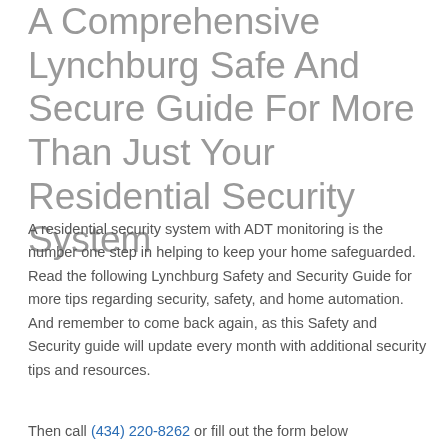A Comprehensive Lynchburg Safe And Secure Guide For More Than Just Your Residential Security System
A residential security system with ADT monitoring is the number one step in helping to keep your home safeguarded. Read the following Lynchburg Safety and Security Guide for more tips regarding security, safety, and home automation. And remember to come back again, as this Safety and Security guide will update every month with additional security tips and resources.
Then call (434) 220-8262 or fill out the form below